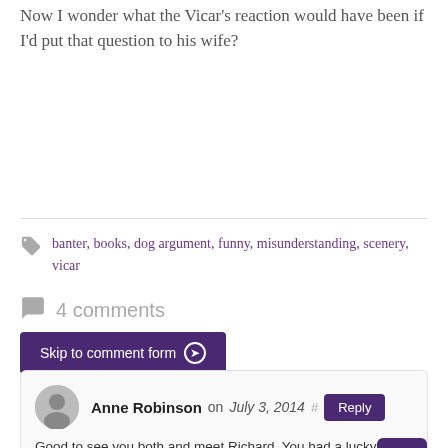Now I wonder what the Vicar's reaction would have been if I'd put that question to his wife?
banter, books, dog argument, funny, misunderstanding, scenery, vicar
4 comments
Skip to comment form
Anne Robinson on July 3, 2014 # Reply
Good to see you both and meet Richard. You had a lucky escape on the Lune, cows and dogs don't mix! By the way I am